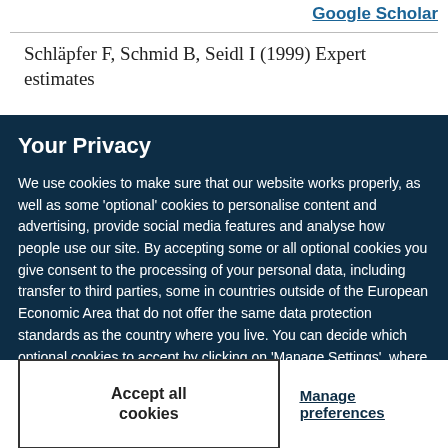Google Scholar
Schläpfer F, Schmid B, Seidl I (1999) Expert estimates
Your Privacy
We use cookies to make sure that our website works properly, as well as some 'optional' cookies to personalise content and advertising, provide social media features and analyse how people use our site. By accepting some or all optional cookies you give consent to the processing of your personal data, including transfer to third parties, some in countries outside of the European Economic Area that do not offer the same data protection standards as the country where you live. You can decide which optional cookies to accept by clicking on 'Manage Settings', where you can also find more information about how your personal data is processed. Further information can be found in our privacy policy.
Accept all cookies
Manage preferences